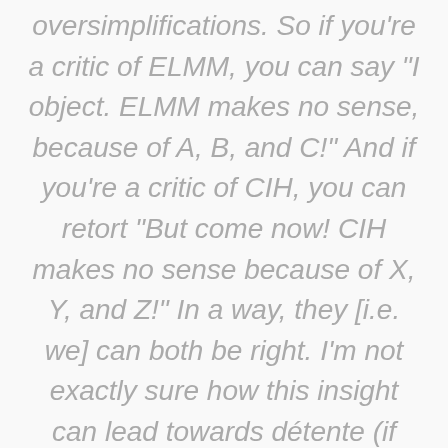oversimplifications. So if you're a critic of ELMM, you can say "I object. ELMM makes no sense, because of A, B, and C!" And if you're a critic of CIH, you can retort "But come now! CIH makes no sense because of X, Y, and Z!" In a way, they [i.e. we] can both be right. I'm not exactly sure how this insight can lead towards détente (if that's possible). But it seems like it should be able to.
Anyway, enough blathering. Have a good weekend. Enjoy the